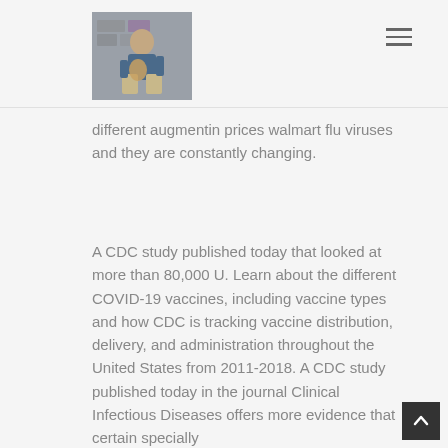[Figure (photo): Photo of a man sitting against a stone wall playing a ukulele, wearing a blue shirt and khaki pants]
different augmentin prices walmart flu viruses and they are constantly changing.
A CDC study published today that looked at more than 80,000 U. Learn about the different COVID-19 vaccines, including vaccine types and how CDC is tracking vaccine distribution, delivery, and administration throughout the United States from 2011-2018. A CDC study published today in the journal Clinical Infectious Diseases offers more evidence that certain specially